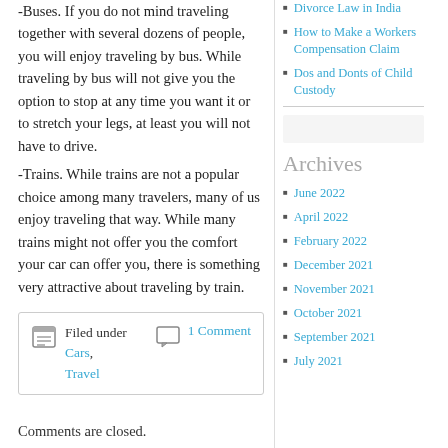-Buses. If you do not mind traveling together with several dozens of people, you will enjoy traveling by bus. While traveling by bus will not give you the option to stop at any time you want it or to stretch your legs, at least you will not have to drive.
-Trains. While trains are not a popular choice among many travelers, many of us enjoy traveling that way. While many trains might not offer you the comfort your car can offer you, there is something very attractive about traveling by train.
Filed under Cars, Travel  |  1 Comment
Comments are closed.
Divorce Law in India
How to Make a Workers Compensation Claim
Dos and Donts of Child Custody
Archives
June 2022
April 2022
February 2022
December 2021
November 2021
October 2021
September 2021
July 2021